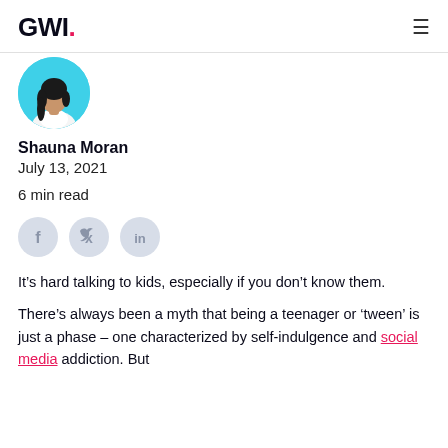GWI.
[Figure (photo): Circular avatar photo of Shauna Moran, a woman with dark hair wearing a white top, against a teal/cyan background.]
Shauna Moran
July 13, 2021
6 min read
[Figure (illustration): Social share icons: Facebook (f), Twitter (bird), LinkedIn (in) — circular light grey buttons.]
It’s hard talking to kids, especially if you don’t know them.
There’s always been a myth that being a teenager or ‘tween’ is just a phase – one characterized by self-indulgence and social media addiction. But